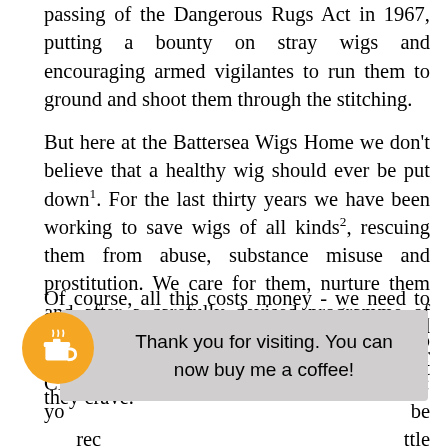passing of the Dangerous Rugs Act in 1967, putting a bounty on stray wigs and encouraging armed vigilantes to run them to ground and shoot them through the stitching.
But here at the Battersea Wigs Home we don't believe that a healthy wig should ever be put down[1]. For the last thirty years we have been working to save wigs of all kinds[2], rescuing them from abuse, substance misuse and prostitution. We care for them, nurture them and after a carefully devised programme of rehabilitation we place them with families who can finally give them the caring environment they crave.
Of course, all this costs money - we need to provide food and shelter, the wigs need constant care and grooming, and our CE[...] you can help: yo[...] be [...] rec[...] ttle [...] you[...] ter all, we believe that all our wigs deserve to find a loving
Thank you for visiting. You can now buy me a coffee!